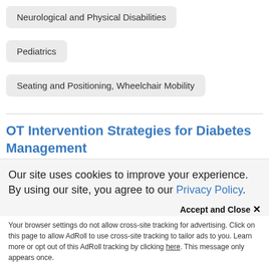Neurological and Physical Disabilities
Pediatrics
Seating and Positioning, Wheelchair Mobility
OT Intervention Strategies for Diabetes Management
Rina Pandya, PT, DPT, APTA (USA) HCPC (UK), MCSP (UK)
November 9, 2021
Our site uses cookies to improve your experience. By using our site, you agree to our Privacy Policy.
Accept and Close ✕
Your browser settings do not allow cross-site tracking for advertising. Click on this page to allow AdRoll to use cross-site tracking to tailor ads to you. Learn more or opt out of this AdRoll tracking by clicking here. This message only appears once.